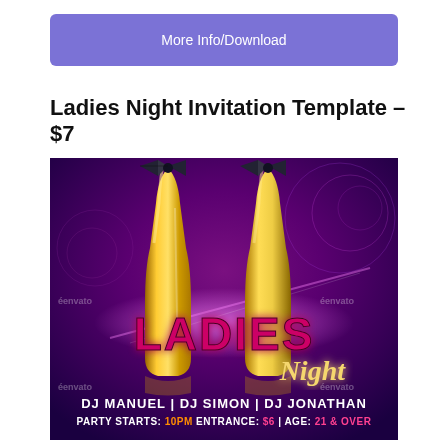More Info/Download
Ladies Night Invitation Template – $7
[Figure (illustration): Ladies Night event flyer with gold bottles wearing bow ties on a purple background. Large text reads LADIES Night. Bottom shows DJ MANUEL | DJ SIMON | DJ JONATHAN and party details with PARTY STARTS, ENTRANCE, AGE: 21 & OVER. Envato watermark visible.]